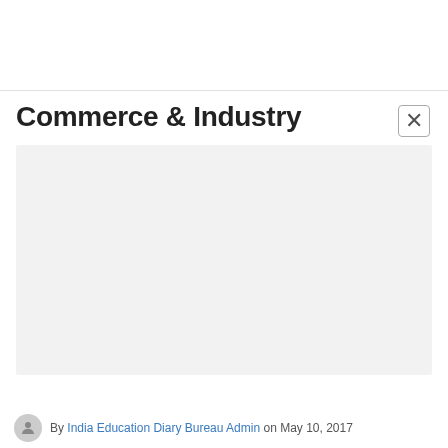Commerce & Industry
[Figure (other): Light gray rectangular placeholder image area below the title]
By India Education Diary Bureau Admin on May 10, 2017